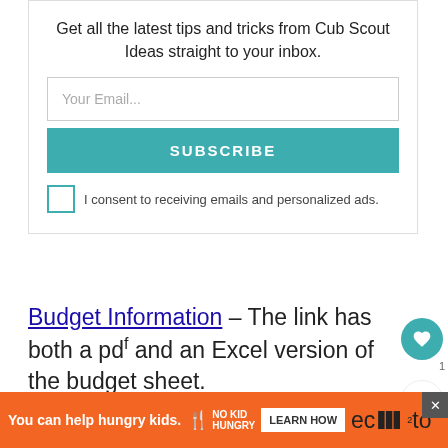Get all the latest tips and tricks from Cub Scout Ideas straight to your inbox.
[Figure (screenshot): Email subscription form with email input field, Subscribe button in teal, and consent checkbox]
Budget Information – The link has both a pdf and an Excel version of the budget sheet.
Unit Money-Earning Application – This is the form that must be submitted to the Council be... to
[Figure (screenshot): Orange advertisement banner: 'You can help hungry kids. NO KID HUNGRY LEARN HOW']